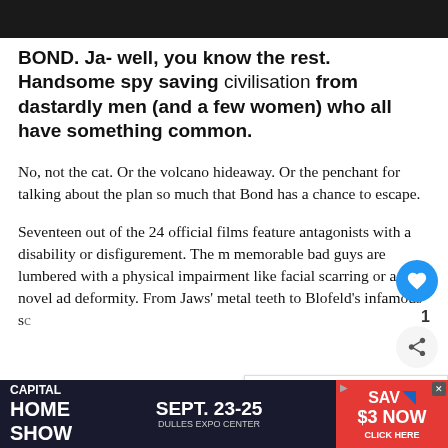[Figure (photo): Dark photo strip at top of page, partially cropped]
BOND. Ja- well, you know the rest. Handsome spy saving civilisation from dastardly men (and a few women) who all have something common.
No, not the cat. Or the volcano hideaway. Or the penchant for talking about the plan so much that Bond has a chance to escape.
Seventeen out of the 24 official films feature antagonists with a disability or disfigurement. The most memorable bad guys are lumbered with a physical impairment like facial scarring or a novel additional deformity. From Jaws' metal teeth to Blofeld's infamous sc… something... larity is ac… rist°
[Figure (photo): Small thumbnail image for 'What's Next' widget showing city buildings]
WHAT'S NEXT → Second Brit family robbe...
[Figure (other): Advertisement banner: Capital Home Show, Sept. 23-25, Dulles Expo Center, Save $3 Now, Click Here]